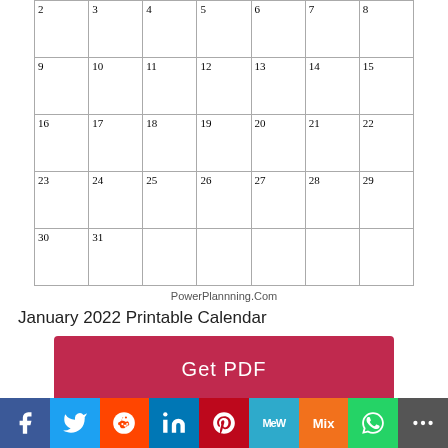| Sun | Mon | Tue | Wed | Thu | Fri | Sat |
| --- | --- | --- | --- | --- | --- | --- |
|  |  |  |  |  |  | 1 |
| 2 | 3 | 4 | 5 | 6 | 7 | 8 |
| 9 | 10 | 11 | 12 | 13 | 14 | 15 |
| 16 | 17 | 18 | 19 | 20 | 21 | 22 |
| 23 | 24 | 25 | 26 | 27 | 28 | 29 |
| 30 | 31 |  |  |  |  |  |
PowerPlannning.Com
January 2022 Printable Calendar
Get PDF
JANUARY 2022
[Figure (infographic): Social share bar with icons: Facebook, Twitter, Reddit, LinkedIn, Pinterest, MeWe, Mix, WhatsApp, More]